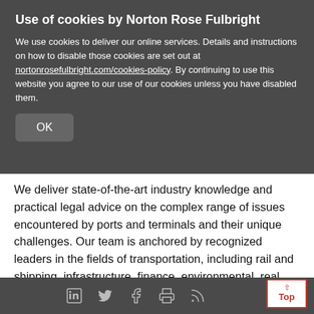Use of cookies by Norton Rose Fulbright
We use cookies to deliver our online services. Details and instructions on how to disable those cookies are set out at nortonrosefulbright.com/cookies-policy. By continuing to use this website you agree to our use of our cookies unless you have disabled them.
OK
any matter involving ports or terminals.
We deliver state-of-the-art industry knowledge and practical legal advice on the complex range of issues encountered by ports and terminals and their unique challenges. Our team is anchored by recognized leaders in the fields of transportation, including rail and shipping, infrastructure, finance, environmental, real estate and employment and labor law.
Social media icons: LinkedIn, Twitter, Facebook, Print, RSS. Top button.